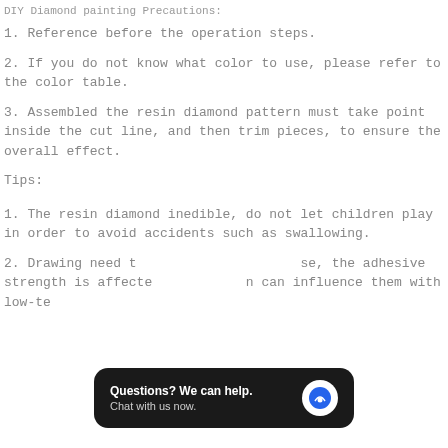DIY Diamond painting Precautions:
1. Reference before the operation steps.
2. If you do not know what color to use, please refer to the color table.
3. Assembled the resin diamond pattern must take point inside the cut line, and then trim pieces, to ensure the overall effect.
Tips:
1. The resin diamond inedible, do not let children play in order to avoid accidents such as swallowing.
2. Drawing need to ... se, the adhesive strength is affected ... n can influence them with low-temperature extra iron.